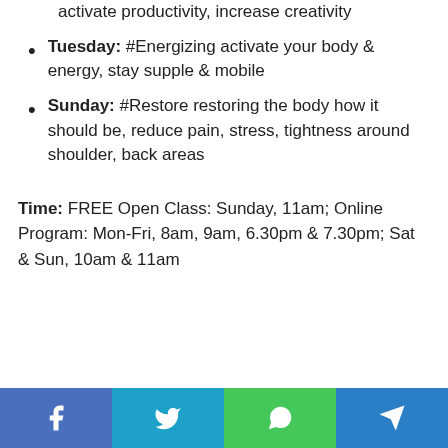activate productivity, increase creativity
Tuesday: #Energizing activate your body & energy, stay supple & mobile
Sunday: #Restore restoring the body how it should be, reduce pain, stress, tightness around shoulder, back areas
Time: FREE Open Class: Sunday, 11am; Online Program: Mon-Fri, 8am, 9am, 6.30pm & 7.30pm; Sat & Sun, 10am & 11am